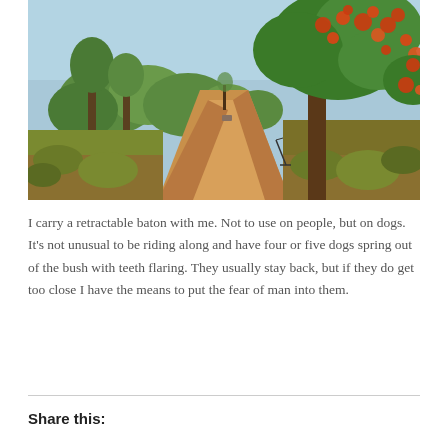[Figure (photo): A dirt road stretching into the distance flanked by lush green trees and a large tree with red flowers on the right side. A bicycle is visible leaning near the tree on the right. The sky is clear blue in the background.]
I carry a retractable baton with me. Not to use on people, but on dogs. It's not unusual to be riding along and have four or five dogs spring out of the bush with teeth flaring. They usually stay back, but if they do get too close I have the means to put the fear of man into them.
Share this: